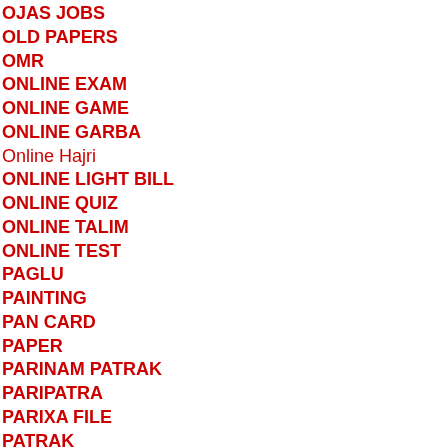OJAS JOBS
OLD PAPERS
OMR
ONLINE EXAM
ONLINE GAME
ONLINE GARBA
Online Hajri
ONLINE LIGHT BILL
ONLINE QUIZ
ONLINE TALIM
ONLINE TEST
PAGLU
PAINTING
PAN CARD
PAPER
PARINAM PATRAK
PARIPATRA
PARIXA FILE
PATRAK